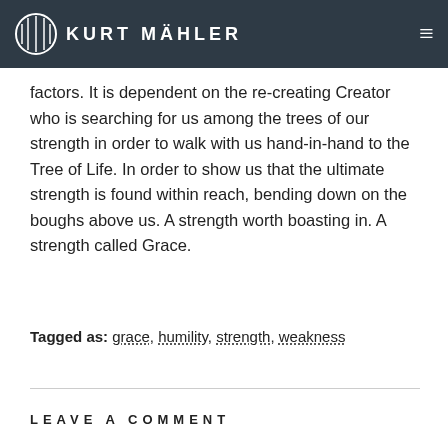KURT MÄHLER
factors. It is dependent on the re-creating Creator who is searching for us among the trees of our strength in order to walk with us hand-in-hand to the Tree of Life. In order to show us that the ultimate strength is found within reach, bending down on the boughs above us. A strength worth boasting in. A strength called Grace.
Tagged as: grace, humility, strength, weakness
LEAVE A COMMENT